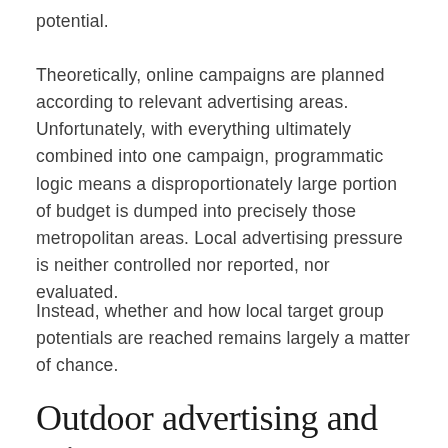potential.
Theoretically, online campaigns are planned according to relevant advertising areas. Unfortunately, with everything ultimately combined into one campaign, programmatic logic means a disproportionately large portion of budget is dumped into precisely those metropolitan areas. Local advertising pressure is neither controlled nor reported, nor evaluated.
Instead, whether and how local target group potentials are reached remains largely a matter of chance.
Outdoor advertising and print